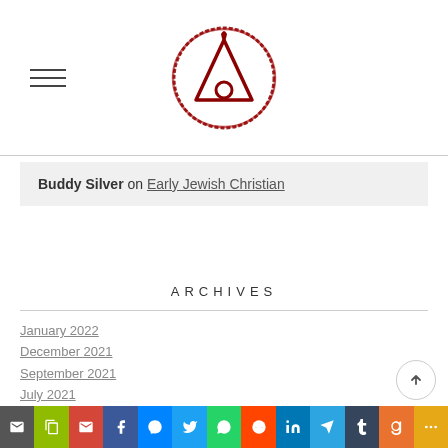[Logo: circular red emblem with stylized A/flame icon]
Buddy Silver on Early Jewish Christian
ARCHIVES
January 2022
December 2021
September 2021
July 2021
June 2021
May 2021
April 2021
March 2021
Social sharing bar: Email, Copy, Gmail, Facebook, Messenger, Twitter, WhatsApp, Reddit, LinkedIn, Telegram, Tumblr, Goodreads, More